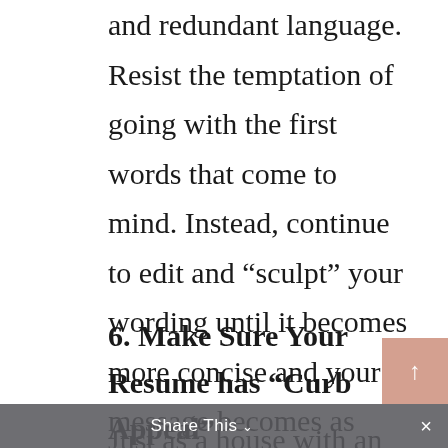and redundant language. Resist the temptation of going with the first words that come to mind. Instead, continue to edit and “sculpt” your wording until it becomes more concise and your message becomes as clear as possible.
6. Make Sure Your Resume has “Curb Appeal”
Just as a house with an attractive view from the street can help sell your home, a resume with “curb appeal” can help sell